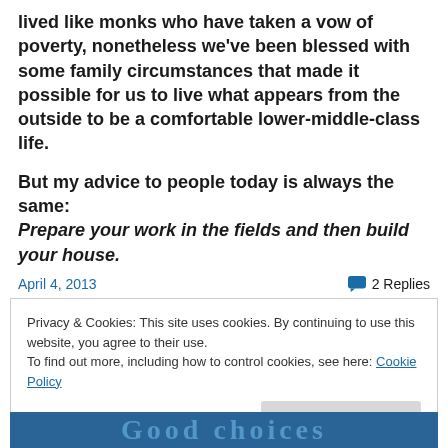lived like monks who have taken a vow of poverty, nonetheless we've been blessed with some family circumstances that made it possible for us to live what appears from the outside to be a comfortable lower-middle-class life.

But my advice to people today is always the same: Prepare your work in the fields and then build your house.
April 4, 2013
2 Replies
Privacy & Cookies: This site uses cookies. By continuing to use this website, you agree to their use.
To find out more, including how to control cookies, see here: Cookie Policy
Close and accept
[Figure (screenshot): Partial blurred/obscured image at bottom of page showing dark blue background with stylized text]